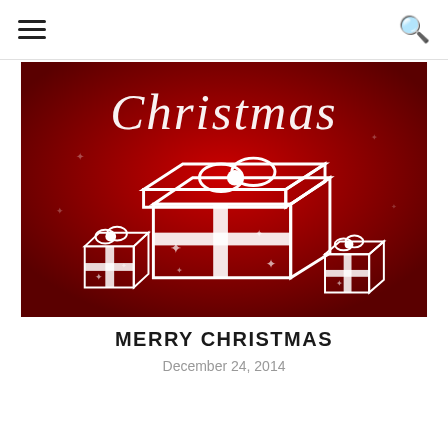≡  🔍
[Figure (illustration): Red Christmas greeting card illustration with cursive 'Christmas' text at top, large white-outlined gift box in center with ribbon and bow, two smaller gift boxes on lower left and lower right, star decorations on red gradient background.]
MERRY CHRISTMAS
December 24, 2014